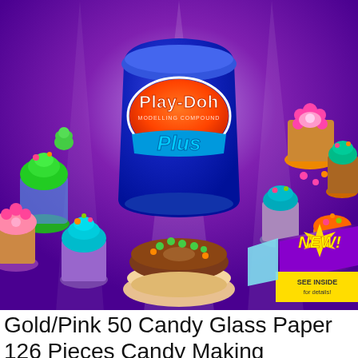[Figure (photo): Play-Doh Plus modeling compound bucket/container in navy blue with orange Play-Doh logo and blue 'Plus' text, surrounded by colorful Play-Doh creations including cupcakes, donuts, and treats, on a purple background. A 'NEW!' badge with yellow 'SEE INSIDE for details!' banner appears in the lower right.]
Gold/Pink 50 Candy Glass Paper 126 Pieces Candy Making Accessory for Festival Party 1 Roll 25 Yard Glitter Ribbon 25 Bling Bling Rhinestone Sticker 50 Pcs Bamboo Candy Stick Pink